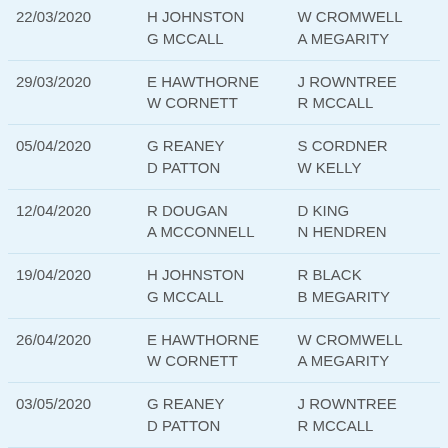| Date | Column2 | Column3 |
| --- | --- | --- |
| 22/03/2020 | H JOHNSTON
G MCCALL | W CROMWELL
A MEGARITY |
| 29/03/2020 | E HAWTHORNE
W CORNETT | J ROWNTREE
R MCCALL |
| 05/04/2020 | G REANEY
D PATTON | S CORDNER
W KELLY |
| 12/04/2020 | R DOUGAN
A MCCONNELL | D KING
N HENDREN |
| 19/04/2020 | H JOHNSTON
G MCCALL | R BLACK
B MEGARITY |
| 26/04/2020 | E HAWTHORNE
W CORNETT | W CROMWELL
A MEGARITY |
| 03/05/2020 | G REANEY
D PATTON | J ROWNTREE
R MCCALL |